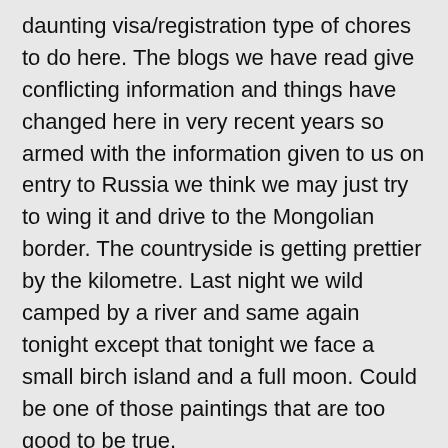daunting visa/registration type of chores to do here. The blogs we have read give conflicting information and things have changed here in very recent years so armed with the information given to us on entry to Russia we think we may just try to wing it and drive to the Mongolian border. The countryside is getting prettier by the kilometre. Last night we wild camped by a river and same again tonight except that tonight we face a small birch island and a full moon. Could be one of those paintings that are too good to be true.
It gets to -40c here in winter.
11th August 2014 Wild camped again last night alongside a crystal clear stream having driven through some beautiful and spectacular country. At the idyllic campsite some very inquisitive cows welcomed us by generally hanging around and occasionally poking heir heads into the back of the car, and they were keen on priority. We were having f...